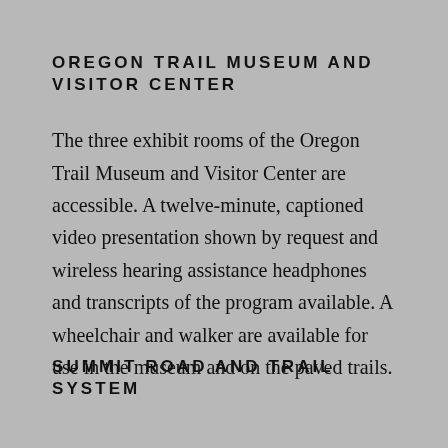OREGON TRAIL MUSEUM AND VISITOR CENTER
The three exhibit rooms of the Oregon Trail Museum and Visitor Center are accessible. A twelve-minute, captioned video presentation shown by request and wireless hearing assistance headphones and transcripts of the program available. A wheelchair and walker are available for use in the museum and on the paved trails.
SUMMIT ROAD AND TRAIL SYSTEM